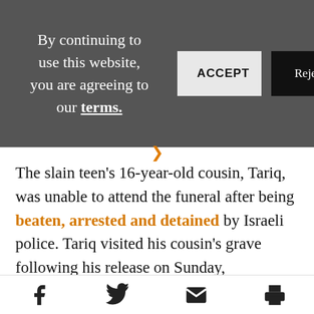By continuing to use this website, you are agreeing to our terms.
The slain teen's 16-year-old cousin, Tariq, was unable to attend the funeral after being beaten, arrested and detained by Israeli police. Tariq visited his cousin's grave following his release on Sunday,
[Facebook icon] [Twitter icon] [Email icon] [Print icon]